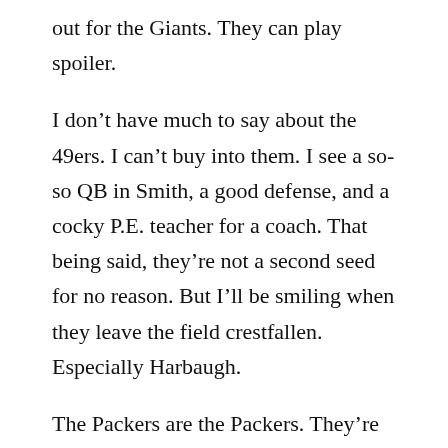out for the Giants. They can play spoiler.
I don't have much to say about the 49ers. I can't buy into them. I see a so-so QB in Smith, a good defense, and a cocky P.E. teacher for a coach. That being said, they're not a second seed for no reason. But I'll be smiling when they leave the field crestfallen. Especially Harbaugh.
The Packers are the Packers. They're good. Real good. But like the Saints and the Patriots, they have a weak defense. I see them getting into a shootout or two. Probably not the way you